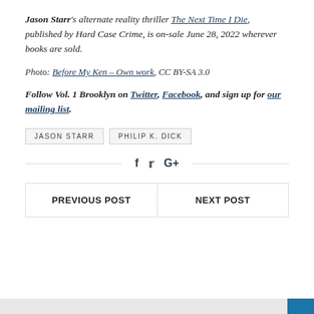Jason Starr's alternate reality thriller The Next Time I Die, published by Hard Case Crime, is on-sale June 28, 2022 wherever books are sold.
Photo: Before My Ken – Own work, CC BY-SA 3.0
Follow Vol. 1 Brooklyn on Twitter, Facebook, and sign up for our mailing list.
JASON STARR
PHILIP K. DICK
[Figure (infographic): Social share icons: f (Facebook), Twitter bird, G+]
| PREVIOUS POST | NEXT POST |
| --- | --- |